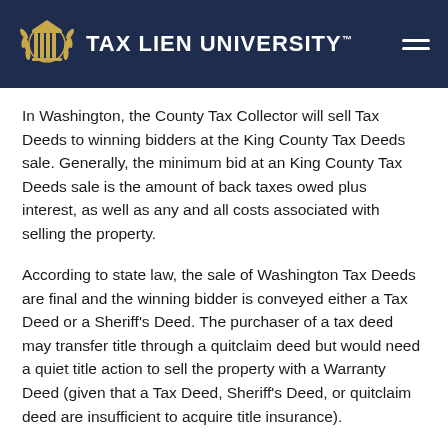TAX LIEN UNIVERSITY
In Washington, the County Tax Collector will sell Tax Deeds to winning bidders at the King County Tax Deeds sale. Generally, the minimum bid at an King County Tax Deeds sale is the amount of back taxes owed plus interest, as well as any and all costs associated with selling the property.
According to state law, the sale of Washington Tax Deeds are final and the winning bidder is conveyed either a Tax Deed or a Sheriff's Deed. The purchaser of a tax deed may transfer title through a quitclaim deed but would need a quiet title action to sell the property with a Warranty Deed (given that a Tax Deed, Sheriff's Deed, or quitclaim deed are insufficient to acquire title insurance).